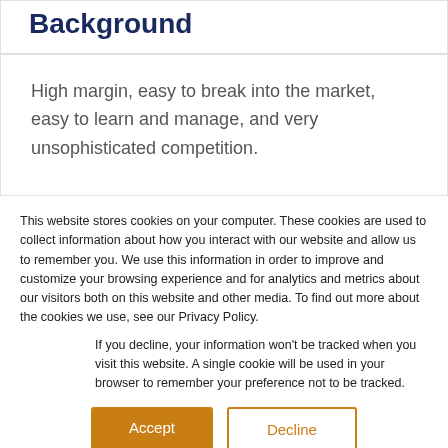Background
High margin, easy to break into the market, easy to learn and manage, and very unsophisticated competition.
This website stores cookies on your computer. These cookies are used to collect information about how you interact with our website and allow us to remember you. We use this information in order to improve and customize your browsing experience and for analytics and metrics about our visitors both on this website and other media. To find out more about the cookies we use, see our Privacy Policy.
If you decline, your information won't be tracked when you visit this website. A single cookie will be used in your browser to remember your preference not to be tracked.